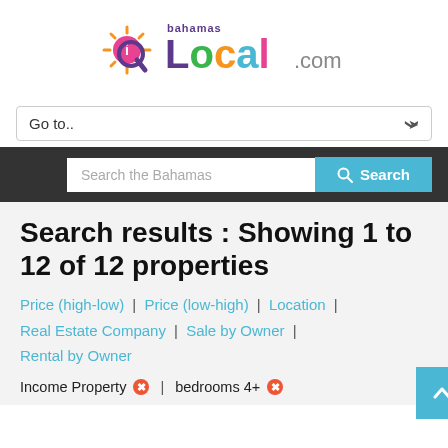[Figure (logo): BahamasLocal.com logo with colorful letters and sun/magnifier icon]
Go to..
Search the Bahamas
Search results : Showing 1 to 12 of 12 properties
Price (high-low) | Price (low-high) | Location | Real Estate Company | Sale by Owner | Rental by Owner
Income Property ⊗ | bedrooms 4+ ⊗